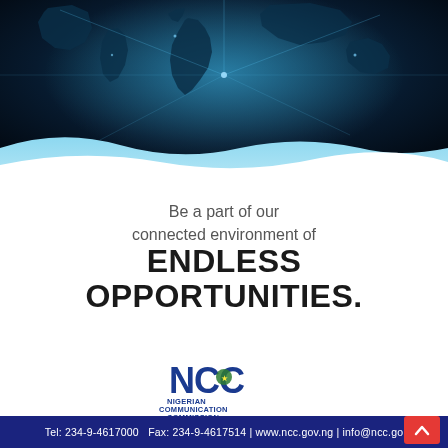[Figure (illustration): World map on dark blue/teal glowing background with light beams, viewed from space perspective. A white wave shape at the bottom transitions to white background.]
Be a part of our connected environment of
ENDLESS OPPORTUNITIES.
YOUR PARTNERSHIP COUNTS!
[Figure (logo): NCC Nigerian Communication Commission logo — NCC letters in blue with a Nigerian coat of arms emblem, text NIGERIAN COMMUNICATION COMMISSION below]
Tel: 234-9-4617000  Fax: 234-9-4617514 | www.ncc.gov.ng | info@ncc.gov.ng